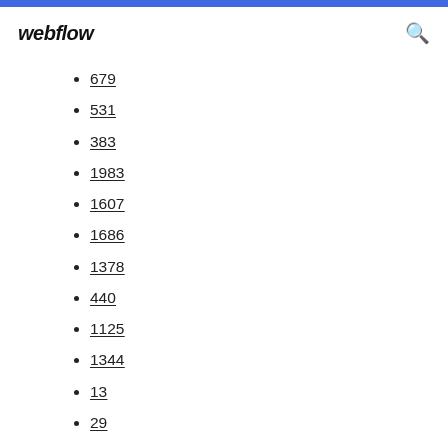webflow
679
531
383
1983
1607
1686
1378
440
1125
1344
13
29